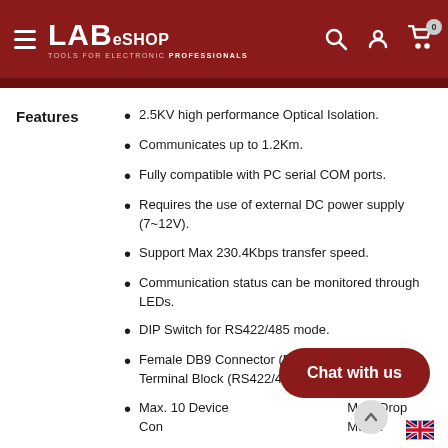LABeSHOP — TOOLS FOR ELECTRONIC PROFESSIONALS
Features
2.5KV high performance Optical Isolation.
Communicates up to 1.2Km.
Fully compatible with PC serial COM ports.
Requires the use of external DC power supply (7~12V).
Support Max 230.4Kbps transfer speed.
Communication status can be monitored through LEDs.
DIP Switch for RS422/485 mode.
Female DB9 Connector (RS232) and 5 Pin Terminal Block (RS422/485).
Max. 10 Device Connectivity for RS422 Multi-Drop Mode.
Max. 32 Device Connectivity for RS485